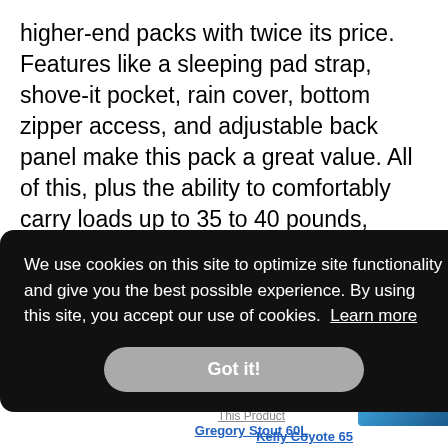higher-end packs with twice its price. Features like a sleeping pad strap, shove-it pocket, rain cover, bottom zipper access, and adjustable back panel make this pack a great value. All of this, plus the ability to comfortably carry loads up to 35 to 40 pounds, earns this pack a high spot on our list.
[Figure (screenshot): Cookie consent banner overlay on dark background with 'We use cookies on this site to optimize site functionality and give you the best possible experience. By using this site, you accept our use of cookies. Learn more' text and 'Got it!' button. Partially visible product image (blue backpack) and product links in background.]